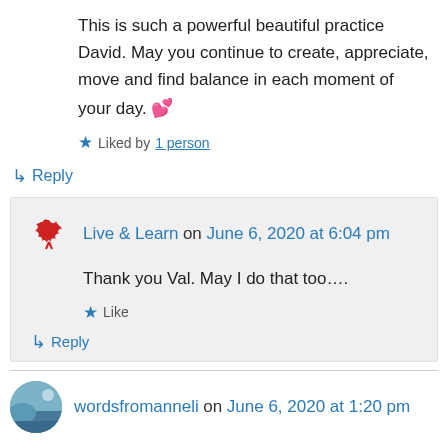This is such a powerful beautiful practice David. May you continue to create, appreciate, move and find balance in each moment of your day. 💕
★ Liked by 1 person
↳ Reply
Live & Learn on June 6, 2020 at 6:04 pm
Thank you Val. May I do that too….
★ Like
↳ Reply
wordsfromanneli on June 6, 2020 at 1:20 pm